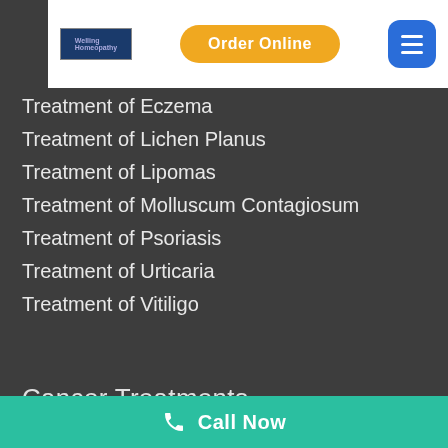[Figure (screenshot): Navigation bar with logo, Order Online button, and hamburger menu button]
Treatment of Eczema
Treatment of Lichen Planus
Treatment of Lipomas
Treatment of Molluscum Contagiosum
Treatment of Psoriasis
Treatment of Urticaria
Treatment of Vitiligo
Cancer Treatments
Call Now